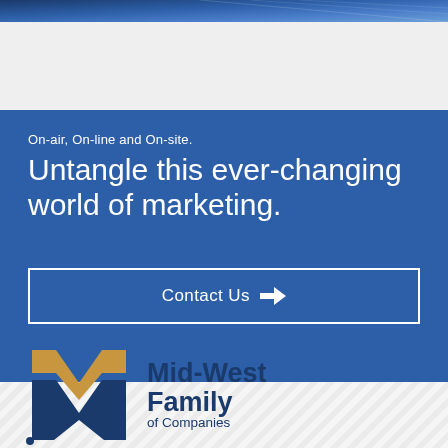[Figure (photo): Blue architectural or network graphic image strip at top of page]
On-air, On-line and On-site.
Untangle this ever-changing world of marketing.
Contact Us →
[Figure (logo): Mid-West Family of Companies logo with gold and blue M/W mark and blue bold text]